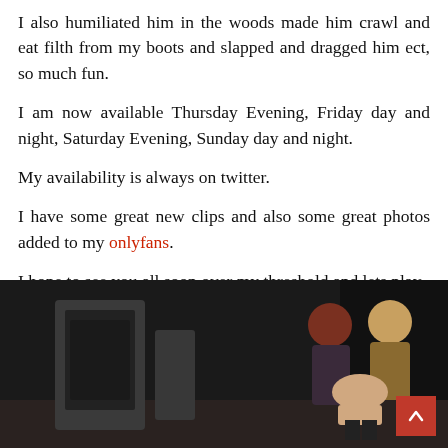I also humiliated him in the woods made him crawl and eat filth from my boots and slapped and dragged him ect, so much fun.
I am now available Thursday Evening, Friday day and night, Saturday Evening, Sunday day and night.
My availability is always on twitter.
I have some great new clips and also some great photos added to my onlyfans.
I hope to see you all soon over my threshold and lets play.
Clip Stores Below
[Figure (photo): Photo of two women with a person kneeling/crouching in front of them in a dark room with curtains. A red scroll-up button is visible in the bottom right corner.]